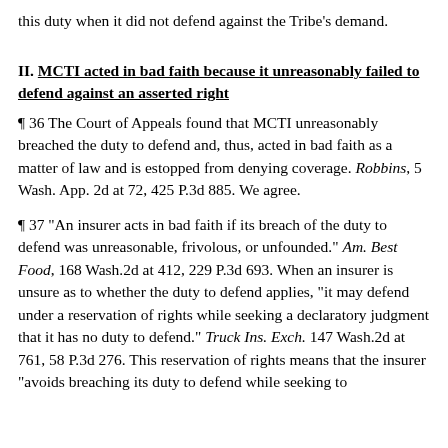this duty when it did not defend against the Tribe's demand.
II. MCTI acted in bad faith because it unreasonably failed to defend against an asserted right
¶ 36 The Court of Appeals found that MCTI unreasonably breached the duty to defend and, thus, acted in bad faith as a matter of law and is estopped from denying coverage. Robbins, 5 Wash. App. 2d at 72, 425 P.3d 885. We agree.
¶ 37 "An insurer acts in bad faith if its breach of the duty to defend was unreasonable, frivolous, or unfounded." Am. Best Food, 168 Wash.2d at 412, 229 P.3d 693. When an insurer is unsure as to whether the duty to defend applies, "it may defend under a reservation of rights while seeking a declaratory judgment that it has no duty to defend." Truck Ins. Exch. 147 Wash.2d at 761, 58 P.3d 276. This reservation of rights means that the insurer "avoids breaching its duty to defend while seeking to